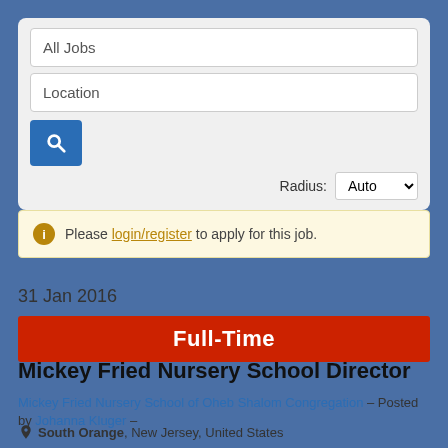[Figure (screenshot): Job search form with 'All Jobs' and 'Location' input fields and a blue search button]
Radius: Auto
Please login/register to apply for this job.
31 Jan 2016
Full-Time
Mickey Fried Nursery School Director
Mickey Fried Nursery School of Oheb Shalom Congregation – Posted by Johanna Kluger –
South Orange, New Jersey, United States
Job Description